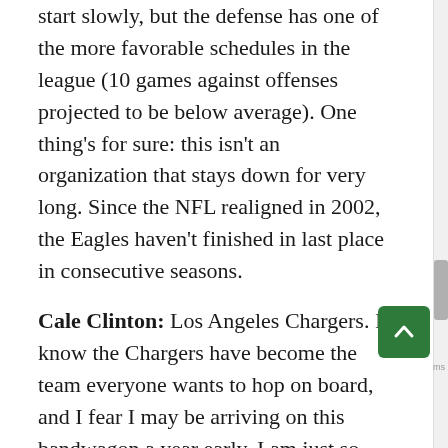start slowly, but the defense has one of the more favorable schedules in the league (10 games against offenses projected to be below average). One thing's for sure: this isn't an organization that stays down for very long. Since the NFL realigned in 2002, the Eagles haven't finished in last place in consecutive seasons.
Cale Clinton: Los Angeles Chargers. I know the Chargers have become the team everyone wants to hop on board, and I fear I may be arriving on this bandwagon a year early. I am just so optimistic about the changes this team made in the offseason. Brandon Staley is going to make a world of difference for this team's defense, especially with the return of Derwin James. Joe Lombardi's Saints/49ers hybrid offense perfectly suits the skill sets on this roster. While I do fear Justin Herbert may see some Year 2 regression, the improvements to the offensive line and incorporation of a new...